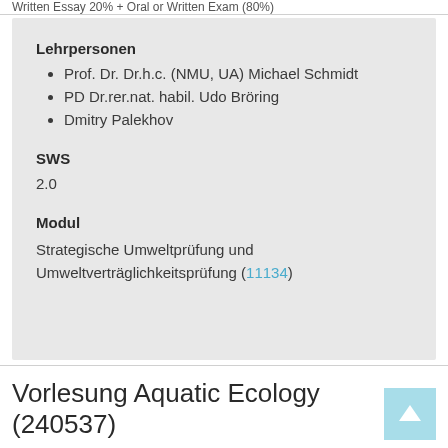Written Essay 20% + Oral or Written Exam (80%)
Lehrpersonen
Prof. Dr. Dr.h.c. (NMU, UA) Michael Schmidt
PD Dr.rer.nat. habil. Udo Bröring
Dmitry Palekhov
SWS
2.0
Modul
Strategische Umweltprüfung und Umweltverträglichkeitsprüfung (11134)
Vorlesung Aquatic Ecology (240537)